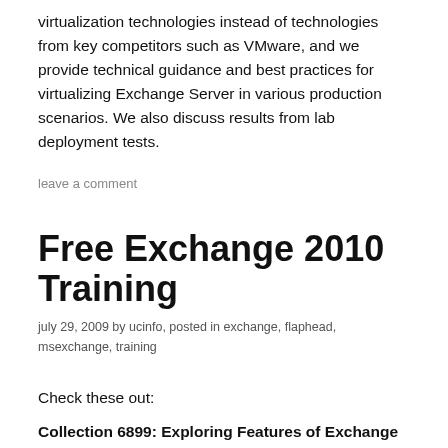virtualization technologies instead of technologies from key competitors such as VMware, and we provide technical guidance and best practices for virtualizing Exchange Server in various production scenarios. We also discuss results from lab deployment tests.
leave a comment
Free Exchange 2010 Training
july 29, 2009 by ucinfo, posted in exchange, flaphead, msexchange, training
Check these out:
Collection 6899: Exploring Features of Exchange